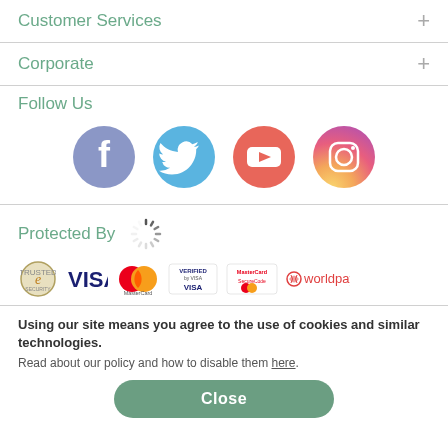Customer Services
Corporate
Follow Us
[Figure (logo): Social media icons: Facebook, Twitter, YouTube, Instagram]
Protected By
[Figure (logo): Loading spinner and payment logos: eSecurity, VISA, MasterCard, Verified by VISA, MasterCard SecureCode, WorldPay]
Using our site means you agree to the use of cookies and similar technologies. Read about our policy and how to disable them here.
Close